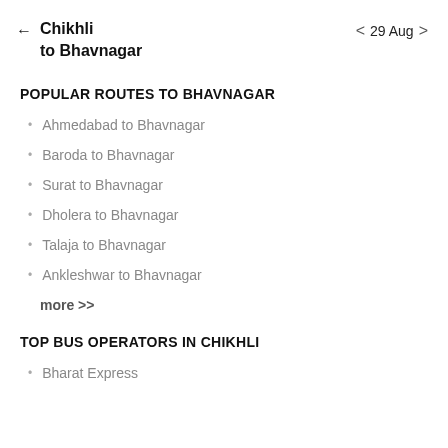← Chikhli to Bhavnagar   < 29 Aug >
POPULAR ROUTES TO BHAVNAGAR
Ahmedabad to Bhavnagar
Baroda to Bhavnagar
Surat to Bhavnagar
Dholera to Bhavnagar
Talaja to Bhavnagar
Ankleshwar to Bhavnagar
more >>
TOP BUS OPERATORS IN CHIKHLI
Bharat Express